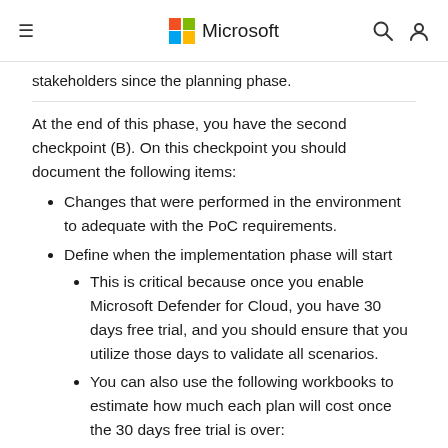Microsoft
stakeholders since the planning phase.
At the end of this phase, you have the second checkpoint (B). On this checkpoint you should document the following items:
Changes that were performed in the environment to adequate with the PoC requirements.
Define when the implementation phase will start
This is critical because once you enable Microsoft Defender for Cloud, you have 30 days free trial, and you should ensure that you utilize those days to validate all scenarios.
You can also use the following workbooks to estimate how much each plan will cost once the 30 days free trial is over:
Defender for Containers Cost Estimation Workbook
Defender for Storage Cost Estimation